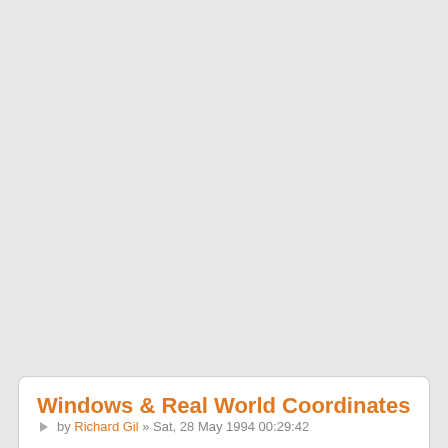Windows & Real World Coordinates
by Richard Gil » Sat, 28 May 1994 00:29:42